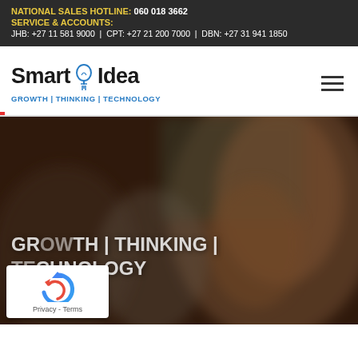NATIONAL SALES HOTLINE: 060 018 3662
SERVICE & ACCOUNTS:
JHB: +27 11 581 9000 | CPT: +27 21 200 7000 | DBN: +27 31 941 1850
[Figure (logo): Smart Idea logo with lightbulb icon and tagline GROWTH | THINKING | TECHNOLOGY]
[Figure (photo): Background photo of students/people in a classroom or educational setting, blurred. Overlay text reads: GROWTH | THINKING | TECHNOLOGY]
[Figure (other): reCAPTCHA privacy badge with rotating arrow icon and Privacy - Terms text]